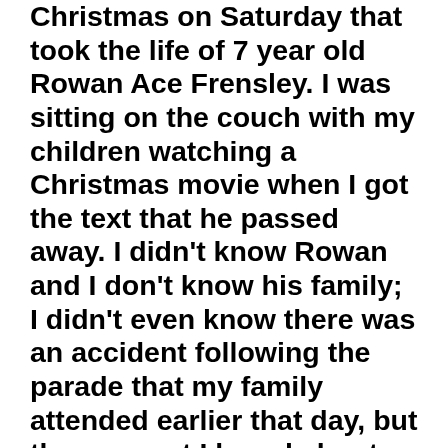Christmas on Saturday that took the life of 7 year old Rowan Ace Frensley. I was sitting on the couch with my children watching a Christmas movie when I got the text that he passed away. I didn't know Rowan and I don't know his family; I didn't even know there was an accident following the parade that my family attended earlier that day, but the moment I heard about his untimely passing, it hit me like a ton of bricks.
As a parent, I can't fathom the pain and agony his parents are going through. As a brother, I can't come to grips with the torment of losing a sibling; one so young with so much life ahead